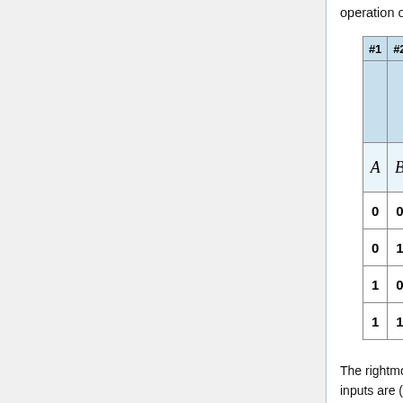operation on two other columns.
| #1 | #2 | #3 | #4 | #5 | #6 |
| --- | --- | --- | --- | --- | --- |
|  |  | OR of Col#1, Col#2 | NOT of Col#3 | NOT of Col#1 | ADD of Col#1, Col#2 |
| A | B | A + B | A + B (overline) | A (overline) | AB (overline) |
| 0 | 0 | 0 | 1 | 1 | 0 |
| 0 | 1 | 1 | 0 | 1 | 1 |
| 1 | 0 | 1 | 0 | 0 | 0 |
| 1 | 1 | 1 | 0 | 0 | 0 |
The rightmost column is the expression we are solving; it is true for the 3rd and 4th rows, where the inputs are (1, 0) and (1, 1).
Online Resources